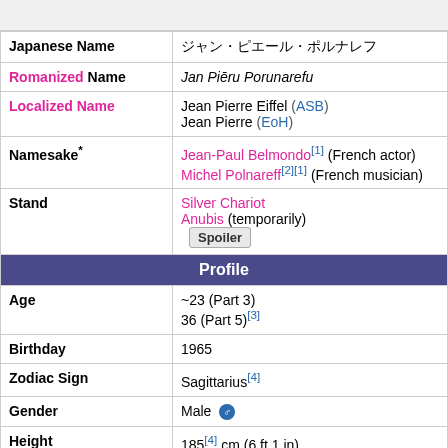| Field | Value |
| --- | --- |
| Japanese Name | ジャン・ピエール・ポルナレフ |
| Romanized Name | Jan Piēru Porunarefu |
| Localized Name | Jean Pierre Eiffel (ASB)
Jean Pierre (EoH) |
| Namesake* | Jean-Paul Belmondo[1] (French actor)
Michel Polnareff[2][1] (French musician) |
| Stand | Silver Chariot
Anubis (temporarily)
Spoiler |
| Profile |  |
| Age | ~23 (Part 3)
36 (Part 5)[3] |
| Birthday | 1965 |
| Zodiac Sign | Sagittarius[4] |
| Gender | Male ♂ |
| Height | 185[4] cm (6 ft 1 in)
(193 cm with hair) |
| Weight | 78 kg (172 lb) |